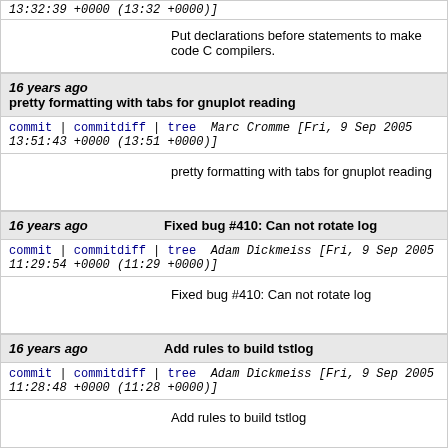13:32:39 +0000 (13:32 +0000)]
Put declarations before statements to make code C compilers.
16 years ago   pretty formatting with tabs for gnuplot reading
commit | commitdiff | tree   Marc Cromme [Fri, 9 Sep 2005 13:51:43 +0000 (13:51 +0000)]
pretty formatting with tabs for gnuplot reading
16 years ago   Fixed bug #410: Can not rotate log
commit | commitdiff | tree   Adam Dickmeiss [Fri, 9 Sep 2005 11:29:54 +0000 (11:29 +0000)]
Fixed bug #410: Can not rotate log
16 years ago   Add rules to build tstlog
commit | commitdiff | tree   Adam Dickmeiss [Fri, 9 Sep 2005 11:28:48 +0000 (11:28 +0000)]
Add rules to build tstlog